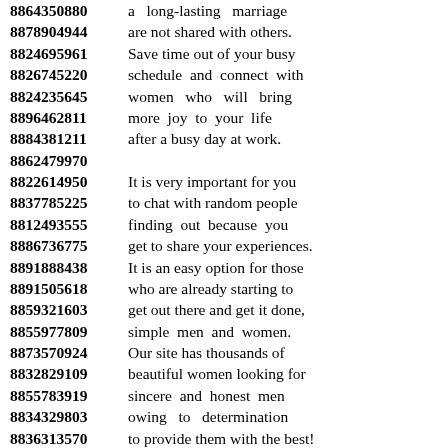8864350880 a long-lasting marriage
8878904944 are not shared with others.
8824695961 Save time out of your busy
8826745220 schedule and connect with
8824235645 women who will bring
8896462811 more joy to your life
8884381211 after a busy day at work.
8862479970
8822614950 It is very important for you
8837785225 to chat with random people
8812493555 finding out because you
8886736775 get to share your experiences.
8891888438 It is an easy option for those
8891505618 who are already starting to
8859321603 get out there and get it done,
8855977809 simple men and women.
8873570924 Our site has thousands of
8832829109 beautiful women looking for
8855783919 sincere and honest men
8834329803 owing to determination
8836313570 to provide them with the best!
8830711606 You expect to come across
8833384766 plenty of women looking
8823441834 for men on a daily basis!
8875733909 The majority of people have
8857357674 become aware of the many